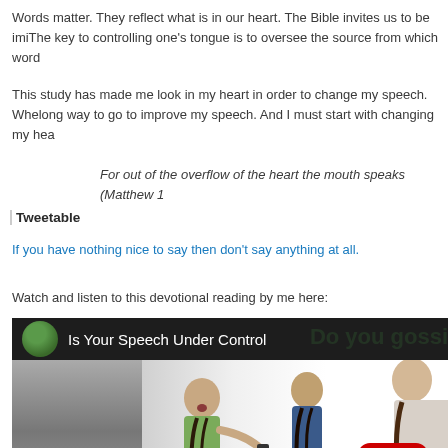Words matter. They reflect what is in our heart. The Bible invites us to be imi... The key to controlling one's tongue is to oversee the source from which word...
This study has made me look in my heart in order to change my speech. Wh... long way to go to improve my speech. And I must start with changing my hea...
For out of the overflow of the heart the mouth speaks (Matthew 1...
Tweetable
If you have nothing nice to say then don't say anything at all.
Watch and listen to this devotional reading by me here:
[Figure (screenshot): YouTube video thumbnail titled 'Is Your Speech Under Control' showing three girls, with a YouTube play button overlay and green text 'Do you gossi...' at the top]